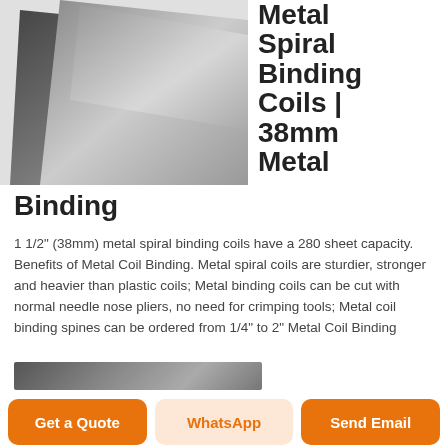[Figure (photo): Product photo of metal spiral binding coils - metallic silver sheets stacked at angles]
Metal Spiral Binding Coils | 38mm Metal Binding
1 1/2" (38mm) metal spiral binding coils have a 280 sheet capacity. Benefits of Metal Coil Binding. Metal spiral coils are sturdier, stronger and heavier than plastic coils; Metal binding coils can be cut with normal needle nose pliers, no need for crimping tools; Metal coil binding spines can be ordered from 1/4" to 2" Metal Coil Binding
[Figure (photo): Partial product image strip at bottom]
Get a Quote
WhatsApp
Send Email